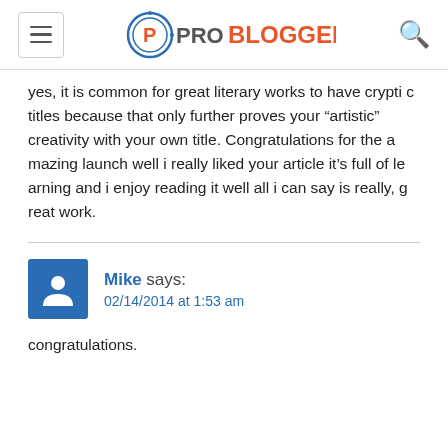ProBlogger
yes, it is common for great literary works to have cryptic titles because that only further proves your “artistic” creativity with your own title. Congratulations for the amazing launch well i really liked your article it’s full of learning and i enjoy reading it well all i can say is really, great work.
Mike says: 02/14/2014 at 1:53 am
congratulations.